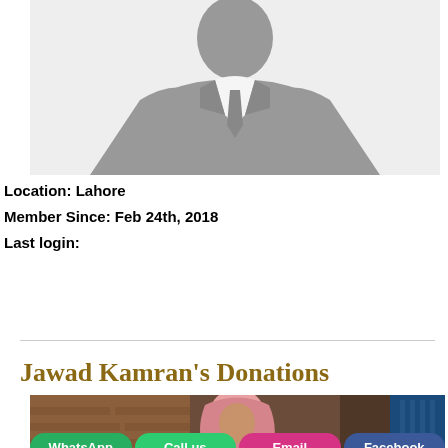[Figure (illustration): Generic male profile silhouette placeholder image - grey business suit figure on light grey background]
Location: Lahore
Member Since: Feb 24th, 2018
Last login:
Jawad Kamran's Donations
[Figure (photo): Photo of a woman in pink hijab standing against a brick wall background]
WhatsApp | Call us | Email | Facebook